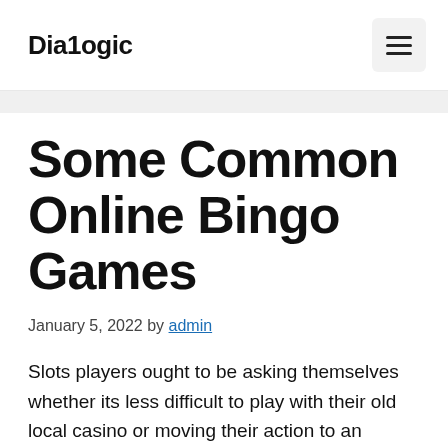Dia1ogic
Some Common Online Bingo Games
January 5, 2022 by admin
Slots players ought to be asking themselves whether its less difficult to play with their old local casino or moving their action to an